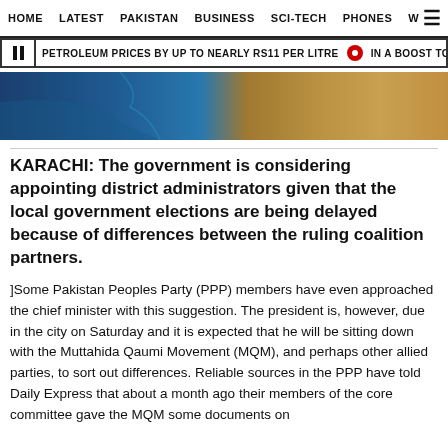HOME  LATEST  PAKISTAN  BUSINESS  SCI-TECH  PHONES  W
PETROLEUM PRICES BY UP TO NEARLY RS11 PER LITRE  |  IN A BOOST TO DWINDLI
[Figure (photo): Satellite or aerial map image showing coastline and terrain in blue and golden-brown tones]
KARACHI: The government is considering appointing district administrators given that the local government elections are being delayed because of differences between the ruling coalition partners.
]Some Pakistan Peoples Party (PPP) members have even approached the chief minister with this suggestion. The president is, however, due in the city on Saturday and it is expected that he will be sitting down with the Muttahida Qaumi Movement (MQM), and perhaps other allied parties, to sort out differences. Reliable sources in the PPP have told Daily Express that about a month ago their members of the core committee gave the MQM some documents on